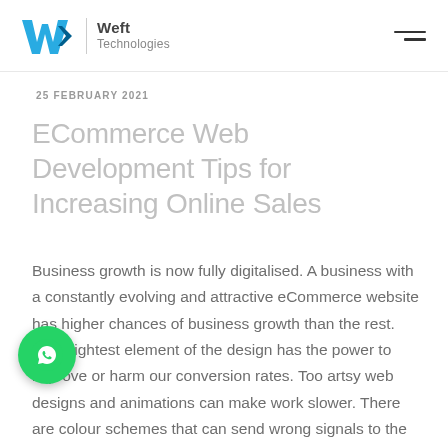Weft Technologies
25 FEBRUARY 2021
ECommerce Web Development Tips for Increasing Online Sales
Business growth is now fully digitalised. A business with a constantly evolving and attractive eCommerce website has higher chances of business growth than the rest. The slightest element of the design has the power to improve or harm our conversion rates. Too artsy web designs and animations can make work slower. There are colour schemes that can send wrong signals to the visitors too.